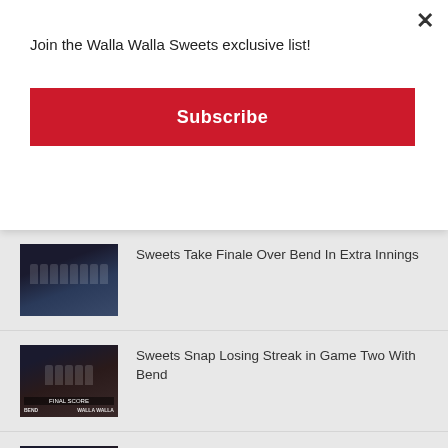Join the Walla Walla Sweets exclusive list!
Subscribe
Sweets Take Finale Over Bend In Extra Innings
Sweets Snap Losing Streak in Game Two With Bend
Sweets Fall in Opening Contest with Bend
Sweets Fall in Game Three vs Portland